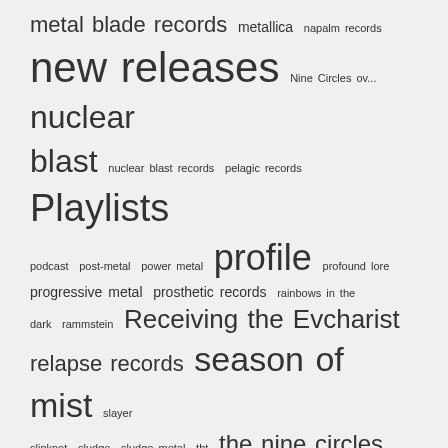metal blade records metallica napalm records new releases Nine Circles ov... nuclear blast nuclear blast records pelagic records Playlists podcast post-metal power metal profile profound lore progressive metal prosthetic records rainbows in the dark rammstein Receiving the Evcharist relapse records season of mist slayer slipknot sludge sludge metal tbt the nine circles audio thing thrash metal tribulation
Misanthropic Luciferian Order
Angry Metal Guy
As the Story Grows